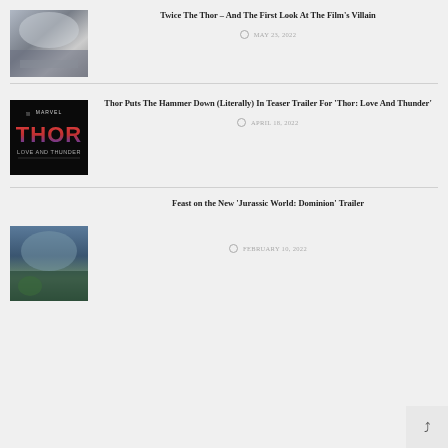[Figure (photo): Thumbnail image - misty mountain/snowy landscape]
Twice The Thor – And The First Look At The Film's Villain
MAY 23, 2022
[Figure (photo): Thor Love and Thunder movie logo on black background]
Thor Puts The Hammer Down (Literally) In Teaser Trailer For ‘Thor: Love And Thunder’
APRIL 18, 2022
[Figure (photo): Thumbnail image - Jurassic World dinosaur scene]
Feast on the New ‘Jurassic World: Dominion’ Trailer
FEBRUARY 10, 2022